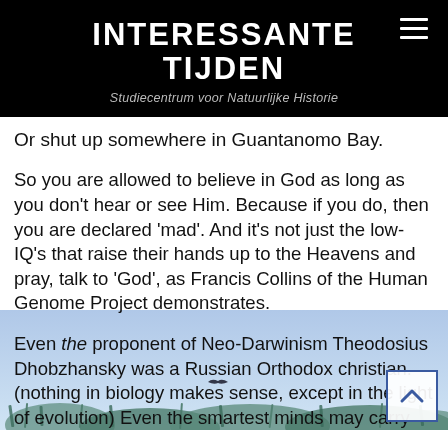INTERESSANTE TIJDEN
Studiecentrum voor Natuurlijke Historie
Or shut up somewhere in Guantanomo Bay.
So you are allowed to believe in God as long as you don't hear or see Him. Because if you do, then you are declared 'mad'. And it's not just the low-IQ's that raise their hands up to the Heavens and pray, talk to 'God', as Francis Collins of the Human Genome Project demonstrates.
Even the proponent of Neo-Darwinism Theodosius Dhobzhansky was a Russian Orthodox christian. (nothing in biology makes sense, except in the light of evolution) Even the smartest minds may carry beliefs that do not depend on technical evidence, that carr…